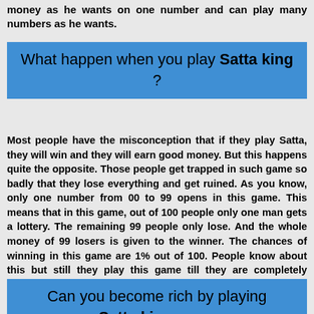money as he wants on one number and can play many numbers as he wants.
What happen when you play Satta king ?
Most people have the misconception that if they play Satta, they will win and they will earn good money. But this happens quite the opposite. Those people get trapped in such game so badly that they lose everything and get ruined. As you know, only one number from 00 to 99 opens in this game. This means that in this game, out of 100 people only one man gets a lottery. The remaining 99 people only lose. And the whole money of 99 losers is given to the winner. The chances of winning in this game are 1% out of 100. People know about this but still they play this game till they are completely ruined.
Can you become rich by playing Satta king game